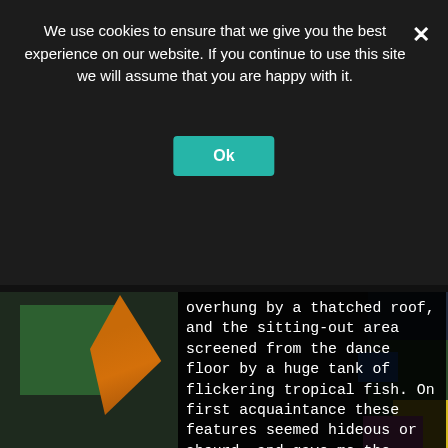[Figure (screenshot): A cookie consent banner overlay on a dark webpage showing a nightclub or entertainment venue in the background. The banner has dark background with white text and a teal/green Ok button.]
We use cookies to ensure that we give you the best experience on our website. If you continue to use this site we will assume that you are happy with it.
overhung by a thatched roof, and the sitting-out area screened from the dance floor by a huge tank of flickering tropical fish. On first acquaintance these features seemed hideous or absurd, and gave me the sinister feeling that nightlife was still run by an elderly, nocturnal, Soho mafia who actually thought such details were smart. Soon, though, they became camp